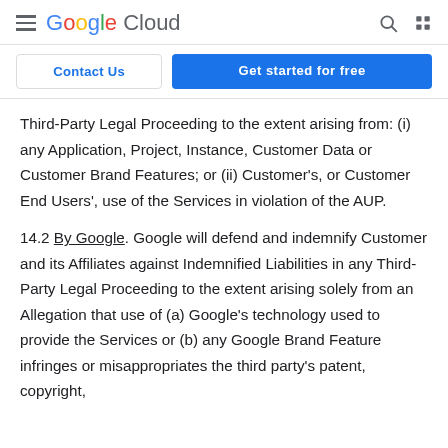Google Cloud — navigation header
Contact Us | Get started for free
Third-Party Legal Proceeding to the extent arising from: (i) any Application, Project, Instance, Customer Data or Customer Brand Features; or (ii) Customer's, or Customer End Users', use of the Services in violation of the AUP.
14.2 By Google. Google will defend and indemnify Customer and its Affiliates against Indemnified Liabilities in any Third-Party Legal Proceeding to the extent arising solely from an Allegation that use of (a) Google's technology used to provide the Services or (b) any Google Brand Feature infringes or misappropriates the third party's patent, copyright,